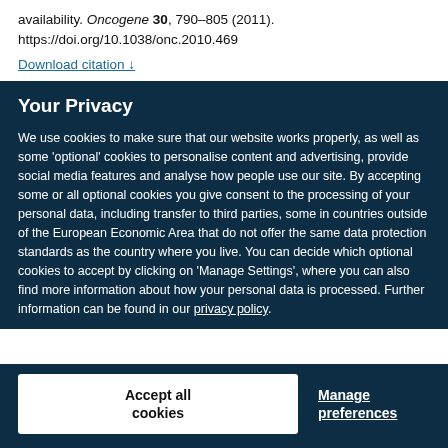availability. Oncogene 30, 790–805 (2011). https://doi.org/10.1038/onc.2010.469
Download citation ↓
Your Privacy
We use cookies to make sure that our website works properly, as well as some 'optional' cookies to personalise content and advertising, provide social media features and analyse how people use our site. By accepting some or all optional cookies you give consent to the processing of your personal data, including transfer to third parties, some in countries outside of the European Economic Area that do not offer the same data protection standards as the country where you live. You can decide which optional cookies to accept by clicking on 'Manage Settings', where you can also find more information about how your personal data is processed. Further information can be found in our privacy policy.
Accept all cookies
Manage preferences